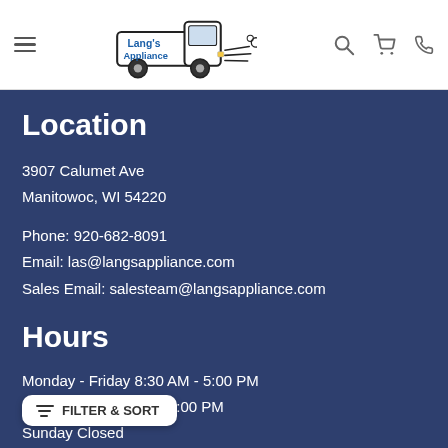Lang's Appliance — navigation header with logo, hamburger menu, search, cart, and phone icons
Location
3907 Calumet Ave
Manitowoc, WI 54220
Phone: 920-682-8091
Email: las@langsappliance.com
Sales Email: salesteam@langsappliance.com
Hours
Monday - Friday 8:30 AM - 5:00 PM
12:00 PM
Sunday Closed